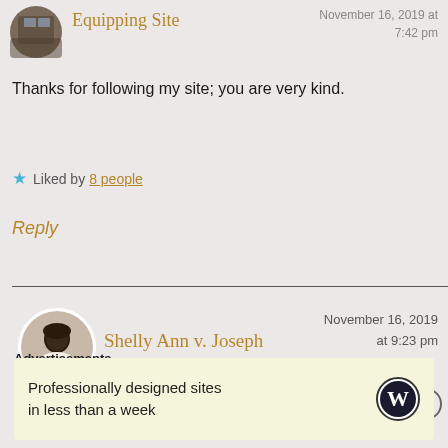Equipping Site
November 16, 2019 at 7:42 pm
Thanks for following my site; you are very kind.
★ Liked by 8 people
Reply
Shelly Ann v. Joseph
November 16, 2019 at 9:23 pm
Advertisements
Professionally designed sites in less than a week